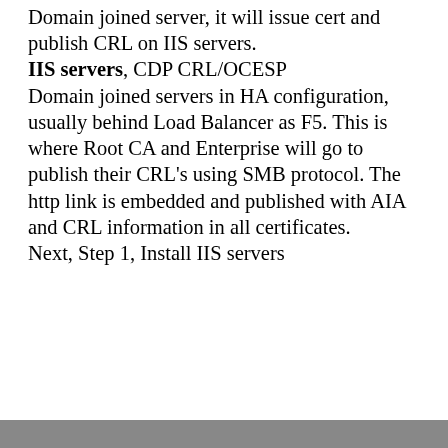Enterprise CA. Domain joined server, it will issue cert and publish CRL on IIS servers. IIS servers, CDP CRL/OCESP Domain joined servers in HA configuration, usually behind Load Balancer as F5. This is where Root CA and Enterprise will go to publish their CRL's using SMB protocol. The http link is embedded and published with AIA and CRL information in all certificates. Next, Step 1, Install IIS servers